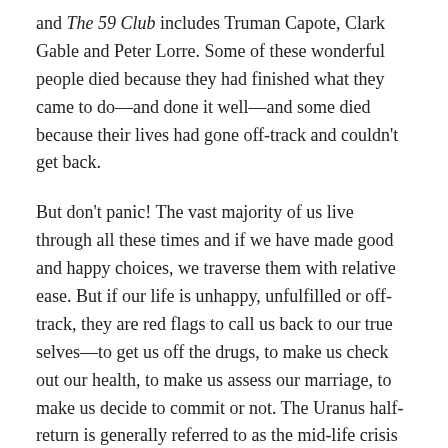and The 59 Club includes Truman Capote, Clark Gable and Peter Lorre. Some of these wonderful people died because they had finished what they came to do—and done it well—and some died because their lives had gone off-track and couldn't get back.
But don't panic! The vast majority of us live through all these times and if we have made good and happy choices, we traverse them with relative ease. But if our life is unhappy, unfulfilled or off-track, they are red flags to call us back to our true selves—to get us off the drugs, to make us check out our health, to make us assess our marriage, to make us decide to commit or not. The Uranus half-return is generally referred to as the mid-life crisis where someone suddenly acts unexpectedly, even if it's only buying a sports car.
One of the reasons I started to study astrology was to be